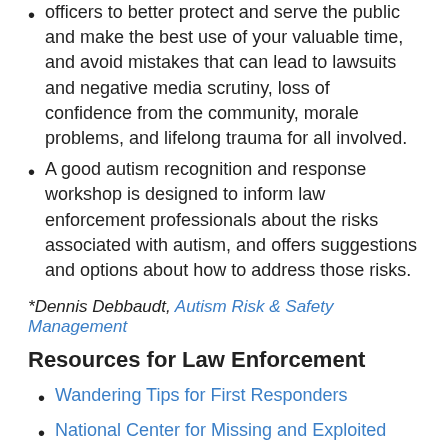officers to better protect and serve the public and make the best use of your valuable time, and avoid mistakes that can lead to lawsuits and negative media scrutiny, loss of confidence from the community, morale problems, and lifelong trauma for all involved.
A good autism recognition and response workshop is designed to inform law enforcement professionals about the risks associated with autism, and offers suggestions and options about how to address those risks.
*Dennis Debbaudt, Autism Risk & Safety Management
Resources for Law Enforcement
Wandering Tips for First Responders
National Center for Missing and Exploited Children
What To Do If Your Child Goes Missing
Project Lifesaver
Spotlight on Autism Treatment: Both Sides of…